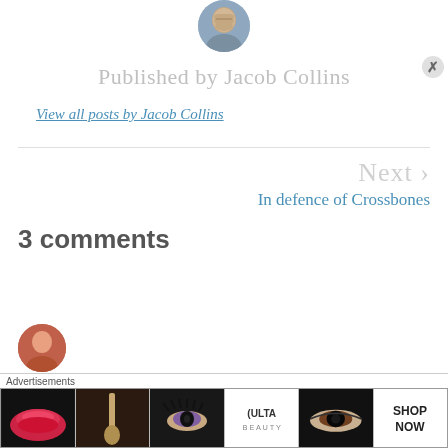[Figure (illustration): Circular avatar image of Jacob Collins, partially visible at top of page]
Published by Jacob Collins
View all posts by Jacob Collins
Next > In defence of Crossbones
3 comments
[Figure (illustration): Circular avatar of a commenter, partially visible at bottom]
[Figure (screenshot): Advertisements banner: Ulta Beauty makeup advertisement with lips, brush, eyes, logo, and SHOP NOW button]
Advertisements